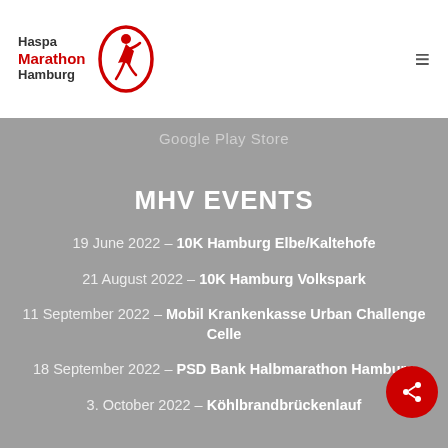[Figure (logo): Haspa Marathon Hamburg logo with runner icon in red and black text]
Google Play Store
MHV EVENTS
19 June 2022 – 10K Hamburg Elbe/Kaltehofe
21 August 2022 – 10K Hamburg Volkspark
11 September 2022 – Mobil Krankenkasse Urban Challenge Celle
18 September 2022 – PSD Bank Halbmarathon Hamburg
3. October 2022 – Köhlbrandbrückenlauf